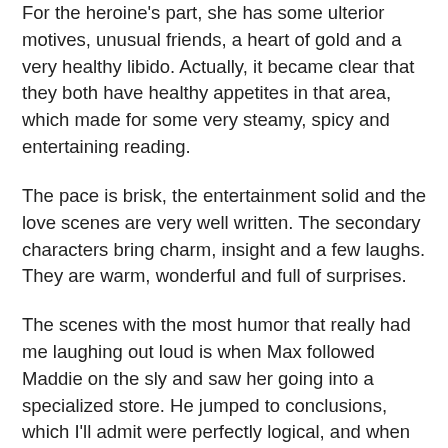For the heroine's part, she has some ulterior motives, unusual friends, a heart of gold and a very healthy libido. Actually, it became clear that they both have healthy appetites in that area, which made for some very steamy, spicy and entertaining reading.
The pace is brisk, the entertainment solid and the love scenes are very well written. The secondary characters bring charm, insight and a few laughs. They are warm, wonderful and full of surprises.
The scenes with the most humor that really had me laughing out loud is when Max followed Maddie on the sly and saw her going into a specialized store. He jumped to conclusions, which I'll admit were perfectly logical, and when the big reveal came about the true purpose, it completely threw me. Max's reaction was priceless. It was awesome.
Messing Around With Max is a must read. For fans that might have missed it, check it out because it's a gem. For new fans, it's